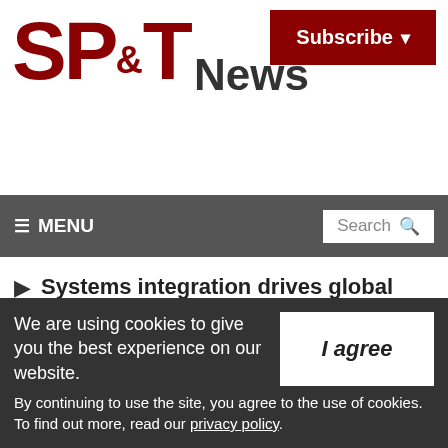[Figure (logo): SP&T News logo with red bold letters and 'News' in dark gray]
[Figure (other): Subscribe button — dark red background with white bold text 'Subscribe' and dropdown arrow]
≡ MENU    Search 🔍
Systems integration drives global security market growth, Freedonia
[Figure (photo): Security Canada advertisement banner — CANASA Presents Security Canada International Security Conference & Exposition — CANADA'S LARGEST SECURITY SHOWS]
We are using cookies to give you the best experience on our website. By continuing to use the site, you agree to the use of cookies. To find out more, read our privacy policy.